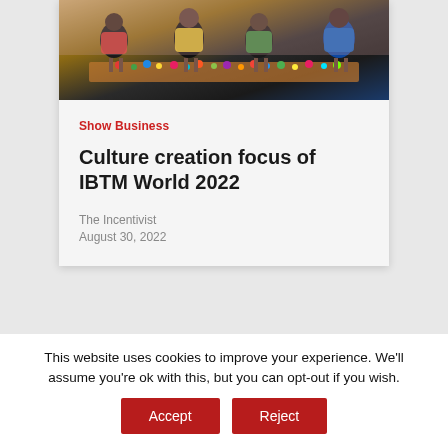[Figure (photo): People sitting at a table covered with colorful craft items, beads and artworks in a busy workshop or event setting]
Show Business
Culture creation focus of IBTM World 2022
The Incentivist
August 30, 2022
[Figure (photo): Partial view of another article card below]
This website uses cookies to improve your experience. We'll assume you're ok with this, but you can opt-out if you wish.